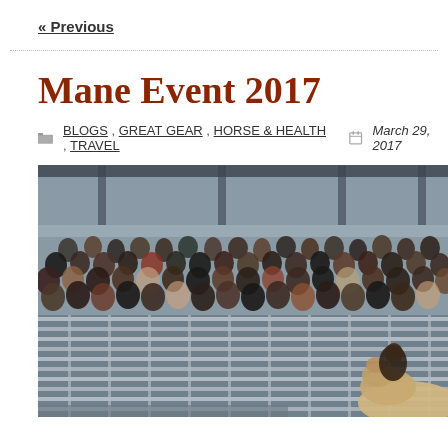« Previous
Mane Event 2017
BLOGS , GREAT GEAR , HORSE & HEALTH , TRAVEL   March 29, 2017
[Figure (photo): Large indoor equestrian arena with packed bleachers full of spectators, metal railings/pens in the foreground, and a rider on a light-colored horse visible at the bottom right.]